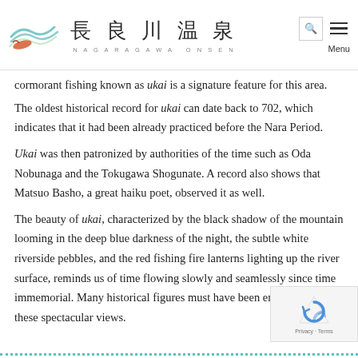[Figure (logo): Nagaragawa Onsen logo with wave graphic and Japanese kanji characters 長良川温泉 with roman letters NAGARAGAWA ONSEN below]
cormorant fishing known as ukai is a signature feature for this area.
The oldest historical record for ukai can date back to 702, which indicates that it had been already practiced before the Nara Period.
Ukai was then patronized by authorities of the time such as Oda Nobunaga and the Tokugawa Shogunate. A record also shows that Matsuo Basho, a great haiku poet, observed it as well.
The beauty of ukai, characterized by the black shadow of the mountain looming in the deep blue darkness of the night, the subtle white riverside pebbles, and the red fishing fire lanterns lighting up the river surface, reminds us of time flowing slowly and seamlessly since time immemorial. Many historical figures must have been enchanted by these spectacular views.
→ Refer to "Nagaragawa Ukai" for detail